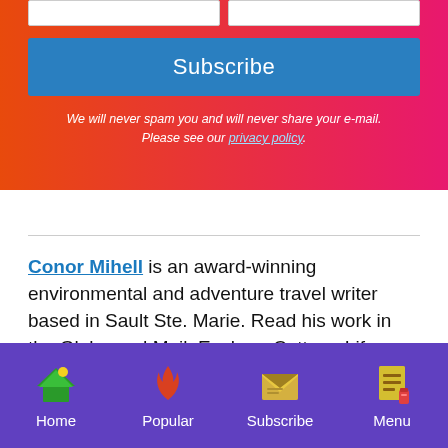[Figure (screenshot): Subscribe form with two input fields side by side]
Subscribe
We will never spam you and will never share your e-mail. Please see our privacy policy.
Conor Mihell is an award-winning environmental and adventure travel writer based in Sault Ste. Marie. Read his work in the Globe and Mail, Explore, Cottage Life, Canoe & Kayak, ON Nature, and other magazines and newspapers. He's been a sea kayak guide on Lake Superior for close to 20 years, and has paddled from Sault Ste. Marie to Thunder Bay.
Home | Popular | Subscribe | Menu